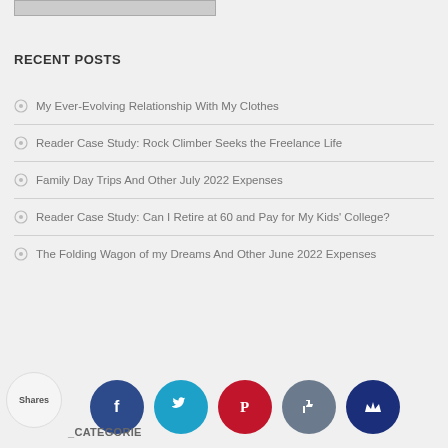[Figure (photo): Partial image bar at top of page]
RECENT POSTS
My Ever-Evolving Relationship With My Clothes
Reader Case Study: Rock Climber Seeks the Freelance Life
Family Day Trips And Other July 2022 Expenses
Reader Case Study: Can I Retire at 60 and Pay for My Kids' College?
The Folding Wagon of my Dreams And Other June 2022 Expenses
Shares
CATEGORIES